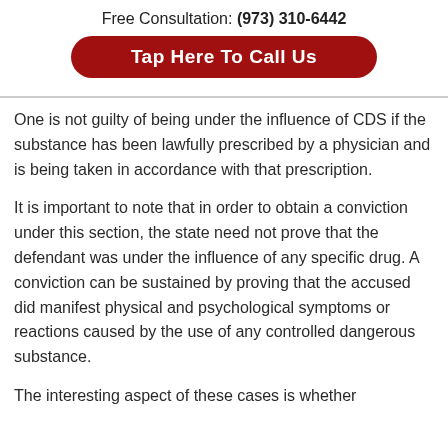Free Consultation: (973) 310-6442
Tap Here To Call Us
One is not guilty of being under the influence of CDS if the substance has been lawfully prescribed by a physician and is being taken in accordance with that prescription.
It is important to note that in order to obtain a conviction under this section, the state need not prove that the defendant was under the influence of any specific drug. A conviction can be sustained by proving that the accused did manifest physical and psychological symptoms or reactions caused by the use of any controlled dangerous substance.
The interesting aspect of these cases is whether